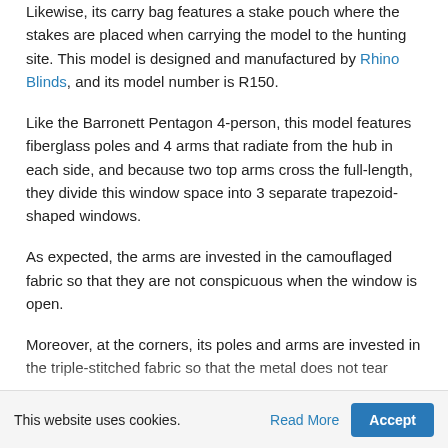Likewise, its carry bag features a stake pouch where the stakes are placed when carrying the model to the hunting site. This model is designed and manufactured by Rhino Blinds, and its model number is R150.
Like the Barronett Pentagon 4-person, this model features fiberglass poles and 4 arms that radiate from the hub in each side, and because two top arms cross the full-length, they divide this window space into 3 separate trapezoid-shaped windows.
As expected, the arms are invested in the camouflaged fabric so that they are not conspicuous when the window is open.
Moreover, at the corners, its poles and arms are invested in the triple-stitched fabric so that the metal does not tear...
This website uses cookies. Read More Accept